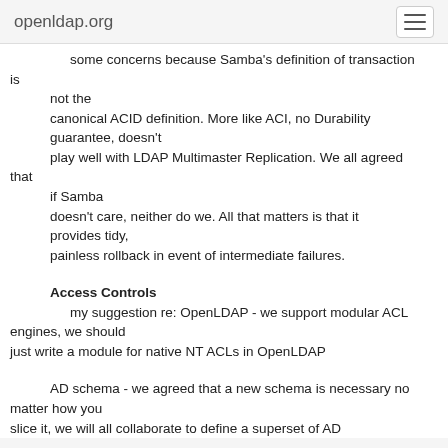openldap.org
some concerns because Samba's definition of transaction is not the canonical ACID definition. More like ACI, no Durability guarantee, doesn't play well with LDAP Multimaster Replication. We all agreed that if Samba doesn't care, neither do we. All that matters is that it provides tidy, painless rollback in event of intermediate failures.
Access Controls
    my suggestion re: OpenLDAP - we support modular ACL engines, we should just write a module for native NT ACLs in OpenLDAP
AD schema - we agreed that a new schema is necessary no matter how you slice it, we will all collaborate to define a superset of AD